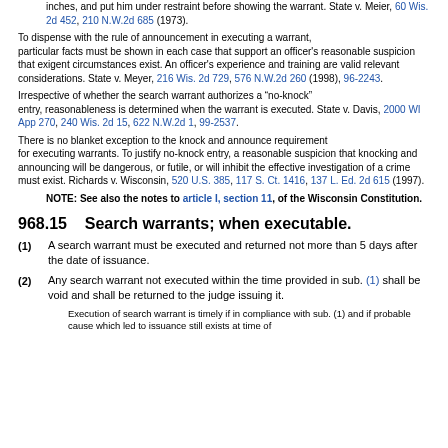inches, and put him under restraint before showing the warrant. State v. Meier, 60 Wis. 2d 452, 210 N.W.2d 685 (1973).
To dispense with the rule of announcement in executing a warrant, particular facts must be shown in each case that support an officer's reasonable suspicion that exigent circumstances exist. An officer's experience and training are valid relevant considerations. State v. Meyer, 216 Wis. 2d 729, 576 N.W.2d 260 (1998), 96-2243.
Irrespective of whether the search warrant authorizes a "no-knock" entry, reasonableness is determined when the warrant is executed. State v. Davis, 2000 WI App 270, 240 Wis. 2d 15, 622 N.W.2d 1, 99-2537.
There is no blanket exception to the knock and announce requirement for executing warrants. To justify no-knock entry, a reasonable suspicion that knocking and announcing will be dangerous, or futile, or will inhibit the effective investigation of a crime must exist. Richards v. Wisconsin, 520 U.S. 385, 117 S. Ct. 1416, 137 L. Ed. 2d 615 (1997).
NOTE: See also the notes to article I, section 11, of the Wisconsin Constitution.
968.15    Search warrants; when executable.
(1) A search warrant must be executed and returned not more than 5 days after the date of issuance.
(2) Any search warrant not executed within the time provided in sub. (1) shall be void and shall be returned to the judge issuing it.
Execution of search warrant is timely if in compliance with sub. (1) and if probable cause which led to issuance still exists at time of...